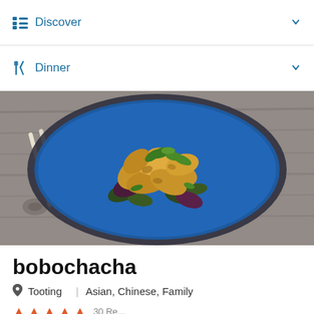Discover
Dinner
[Figure (photo): Overhead photo of a blue ceramic bowl with fried food pieces and green salad leaves on a wooden surface with chopsticks]
bobochacha
Tooting | Asian, Chinese, Family
★★★★★ 30 Reviews